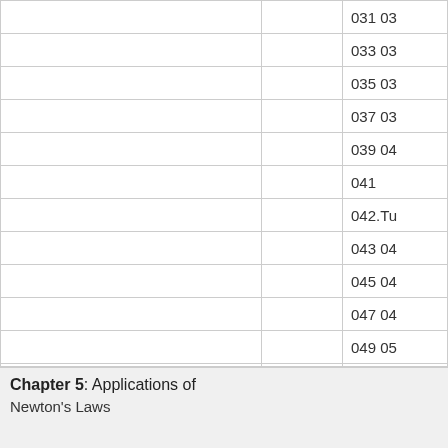|  |  | Numbers |
| --- | --- | --- |
|  |  | 031 03 |
|  |  | 033 03 |
|  |  | 035 03 |
|  |  | 037 03 |
|  |  | 039 04 |
|  |  | 041 |
|  |  | 042.Tu |
|  |  | 043 04 |
|  |  | 045 04 |
|  |  | 047 04 |
|  |  | 049 05 |
|  |  | 051 05 |
|  |  | 053 |
|  |  | 054.Tu |
|  |  | 055 05 |
|  |  | 057 |
Chapter 5: Applications of Newton's Laws
Newton's Laws